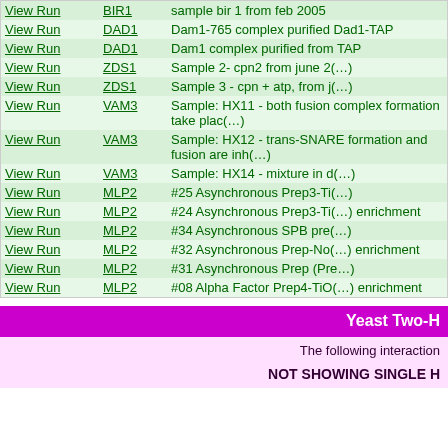|  | Gene | Description |
| --- | --- | --- |
| View Run | BIR1 | sample bir 1 from feb 2005 |
| View Run | DAD1 | Dam1-765 complex purified Dad1-TAP |
| View Run | DAD1 | Dam1 complex purified from TAP |
| View Run | ZDS1 | Sample 2- cpn2 from june 2(…) |
| View Run | ZDS1 | Sample 3 - cpn + atp, from j(…) |
| View Run | VAM3 | Sample: HX11 - both fusion complex formation take plac(…) |
| View Run | VAM3 | Sample: HX12 - trans-SNARE formation and fusion are inh(…) |
| View Run | VAM3 | Sample: HX14 - mixture in d(…) |
| View Run | MLP2 | #25 Asynchronous Prep3-Ti(…) |
| View Run | MLP2 | #24 Asynchronous Prep3-Ti(…) enrichment |
| View Run | MLP2 | #34 Asynchronous SPB pre(…) |
| View Run | MLP2 | #32 Asynchronous Prep-No(…) enrichment |
| View Run | MLP2 | #31 Asynchronous Prep (Pre…) |
| View Run | MLP2 | #08 Alpha Factor Prep4-TiO(…) enrichment |
Yeast Two-H
The following interaction
NOT SHOWING SINGLE H